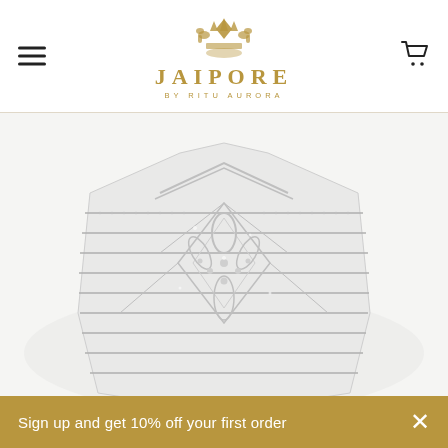JAIPORE BY RITU AURORA
[Figure (photo): A luxury diamond and white gold cuff bracelet with intricate geometric lattice design featuring marquise and pear-shaped diamonds, set against a white background. The bracelet shows elaborate open-work construction with multiple horizontal bands.]
Sign up and get 10% off your first order